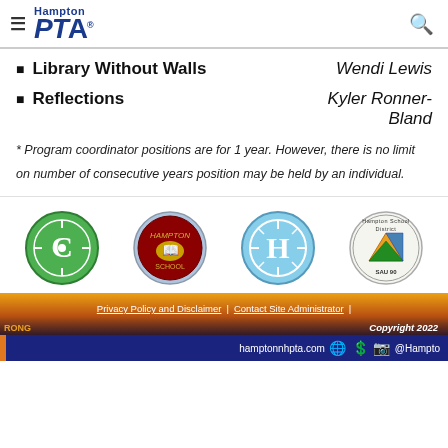Hampton PTA
Library Without Walls — Wendi Lewis
Reflections — Kyler Ronner-Bland
* Program coordinator positions are for 1 year. However, there is no limit on number of consecutive years position may be held by an individual.
[Figure (logo): Four school logos: green compass circle, red book-holder circle, light blue compass H circle, Hampton School District SAU 90 circle]
Privacy Policy and Disclaimer | Contact Site Administrator | Copyright 2022 | hamptonnhpta.com | @Hampto